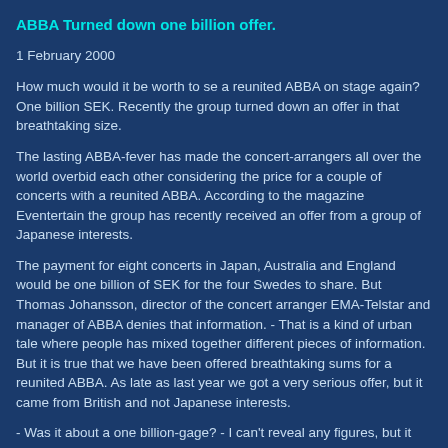ABBA Turned down one billion offer.
1 February 2000
How much would it be worth to se a reunited ABBA on stage again? One billion SEK. Recently the group turned down an offer in that breathtaking size.
The lasting ABBA-fever has made the concert-arrangers all over the world overbid each other considering the price for a couple of concerts with a reunited ABBA. According to the magazine Eventertain the group has recently received an offer from a group of Japanese interests.
The payment for eight concerts in Japan, Australia and England would be one billion of SEK for the four Swedes to share. But Thomas Johansson, director of the concert arranger EMA-Telstar and manager of ABBA denies that information. - That is a kind of urban tale where people has mixed together different pieces of information. But it is true that we have been offered breathtaking sums for a reunited ABBA. As late as last year we got a very serious offer, but it came from British and not Japanese interests.
- Was it about a one billion-gage? - I can't reveal any figures, but it involved tremendous, gigantic amounts. It is my business to further those offers to the four members of the group, and I do that. But everyone knows what it is all about. ABBA has no plans for a reunion, it is as simple as that.
Måns Ivarsson